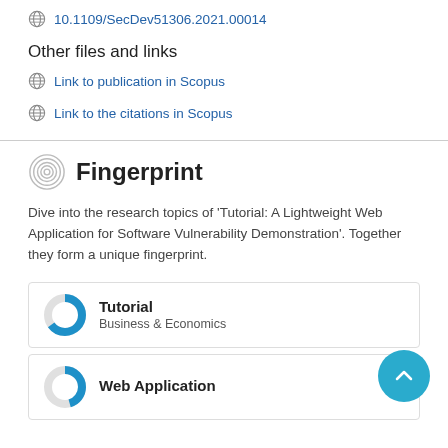10.1109/SecDev51306.2021.00014
Other files and links
Link to publication in Scopus
Link to the citations in Scopus
Fingerprint
Dive into the research topics of 'Tutorial: A Lightweight Web Application for Software Vulnerability Demonstration'. Together they form a unique fingerprint.
[Figure (infographic): Donut chart for Tutorial - Business & Economics category, approximately 90% filled in blue]
[Figure (infographic): Donut chart for Web Application category, partially filled in blue]